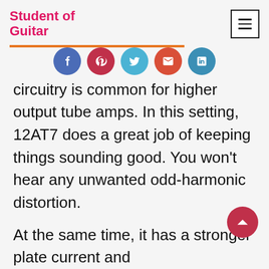Student of Guitar
[Figure (infographic): Social share buttons: Facebook, Pinterest, Twitter, Email, LinkedIn]
circuitry is common for higher output tube amps. In this setting, 12AT7 does a great job of keeping things sounding good. You won't hear any unwanted odd-harmonic distortion.
At the same time, it has a stronger plate current and transconductance. In a practical sense, these traits make it suitable for producing high-ends.